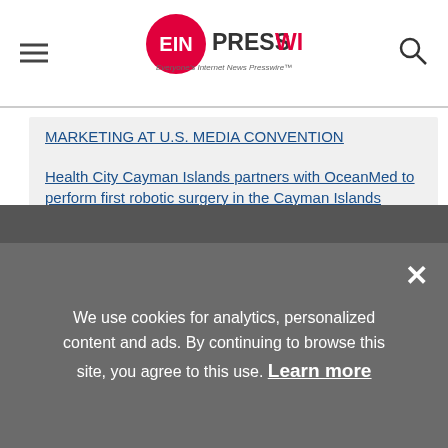EIN Presswire - Everyone's Internet News Presswire
MARKETING AT U.S. MEDIA CONVENTION
Health City Cayman Islands partners with OceanMed to perform first robotic surgery in the Cayman Islands
View All Stories From This Source
We use cookies for analytics, personalized content and ads. By continuing to browse this site, you agree to this use. Learn more